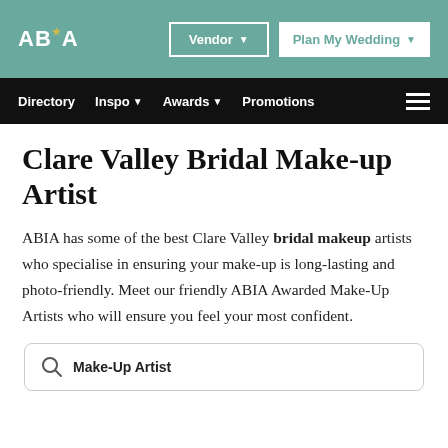ABIA | Vendor | Plan My Wedding
Directory | Inspo | Awards | Promotions
Clare Valley Bridal Make-up Artist
ABIA has some of the best Clare Valley bridal makeup artists who specialise in ensuring your make-up is long-lasting and photo-friendly. Meet our friendly ABIA Awarded Make-Up Artists who will ensure you feel your most confident.
Make-Up Artist